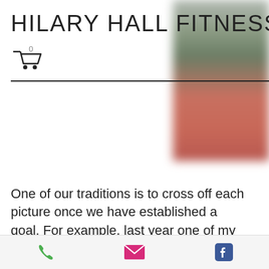HILARY HALL FITNESS
[Figure (screenshot): Shopping cart icon with count 0 and hamburger menu button]
[Figure (photo): Blurred outdoor photo showing green and red/brick tones on right side]
One of our traditions is to cross off each picture once we have established a goal. For example, last year one of my children put a picture of the Disney Cruise Line ship. Once he came home from the family trip he was able to cross off the picture. At the end of the year you and your child
[Figure (infographic): Bottom navigation bar with phone icon (green), email icon (pink/magenta), and Facebook icon (blue)]